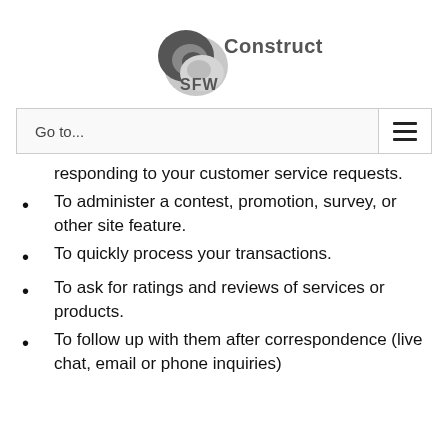[Figure (logo): SFW Construction logo with spiral shell graphic in dark gray and light gray, company name in bold gray text]
Go to...
responding to your customer service requests.
To administer a contest, promotion, survey, or other site feature.
To quickly process your transactions.
To ask for ratings and reviews of services or products.
To follow up with them after correspondence (live chat, email or phone inquiries)